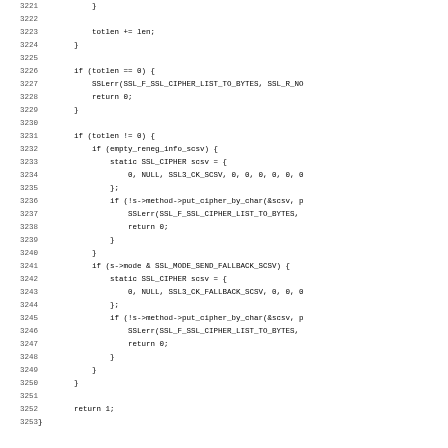[Figure (other): Source code listing showing C code for SSL cipher list function, lines 3221-3252+]